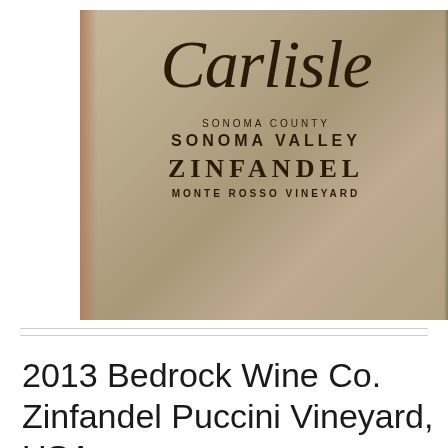[Figure (photo): Photo of a wine bottle label showing the Carlisle brand in large italic script, with text 'SONOMA COUNTY', 'SONOMA VALLEY', 'ZINFANDEL', 'MONTE ROSSO VINEYARD' below it on a cream/tan background]
2013 Bedrock Wine Co. Zinfandel Puccini Vineyard, USA